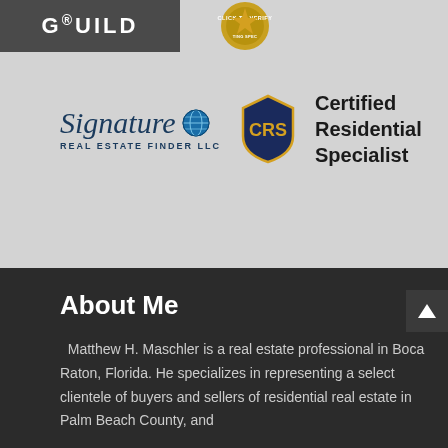[Figure (logo): Guild Mortgage logo - dark grey rectangle with white GUILD text]
[Figure (logo): Click to Verify badge - gold circular seal with text CLICK TO VERIFY]
[Figure (logo): Signature Real Estate Finder LLC logo with globe icon, and CRS (Certified Residential Specialist) shield badge beside the text 'Certified Residential Specialist']
About Me
Matthew H. Maschler is a real estate professional in Boca Raton, Florida. He specializes in representing a select clientele of buyers and sellers of residential real estate in Palm Beach County, and